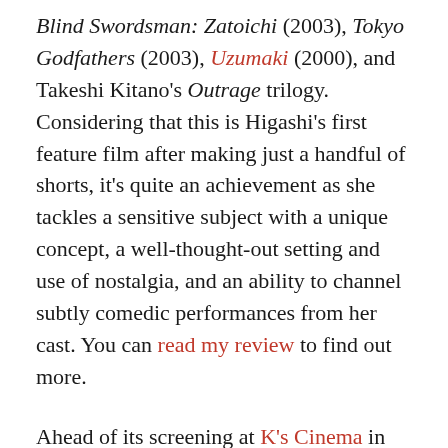Blind Swordsman: Zatoichi (2003), Tokyo Godfathers (2003), Uzumaki (2000), and Takeshi Kitano's Outrage trilogy. Considering that this is Higashi's first feature film after making just a handful of shorts, it's quite an achievement as she tackles a sensitive subject with a unique concept, a well-thought-out setting and use of nostalgia, and an ability to channel subtly comedic performances from her cast. You can read my review to find out more.
Ahead of its screening at K's Cinema in Shinjuku (from July 16th), director Higashi goes into her background, the making of the film and explains where her ideas came from, working with the musical and acting talents, and the nostalgic items and sounds that mean so much